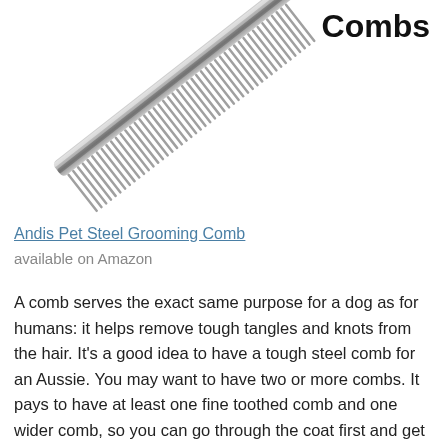Combs
[Figure (photo): A steel pet grooming comb shown diagonally, with fine metal tines, running from upper-left to lower-right]
Andis Pet Steel Grooming Comb
available on Amazon
A comb serves the exact same purpose for a dog as for humans: it helps remove tough tangles and knots from the hair. It's a good idea to have a tough steel comb for an Aussie. You may want to have two or more combs. It pays to have at least one fine toothed comb and one wider comb, so you can go through the coat first and get the bigger knots out before a finer comb — this is just